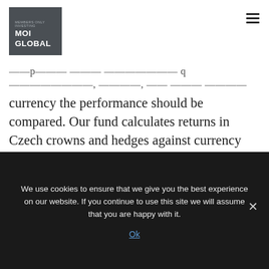[Figure (logo): MOI Global logo – dark grey square with white bold text reading MOI GLOBAL]
——p——— ——— ——————— q————————, ————, —— ——— ————— currency the performance should be compared. Our fund calculates returns in Czech crowns and hedges against currency risk. This means that it does not bear one large risk characteristic of global investing, and that is the risk of currency movements. Eliminating that risk has its price, of course, and these costs also should be reflected
We use cookies to ensure that we give you the best experience on our website. If you continue to use this site we will assume that you are happy with it.
Ok